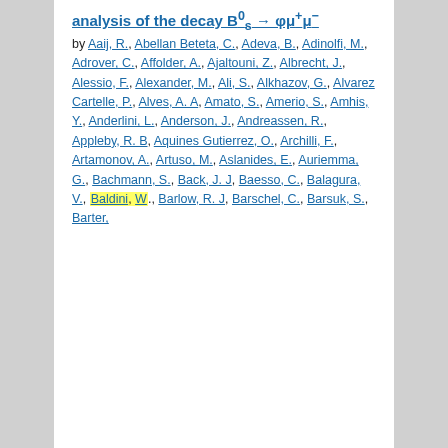analysis of the decay B[superscript 0][subscript s] → φμ[superscript +]μ[superscript −]
by Aaij, R., Abellan Beteta, C., Adeva, B., Adinolfi, M., Adrover, C., Affolder, A., Ajaltouni, Z., Albrecht, J., Alessio, F., Alexander, M., Ali, S., Alkhazov, G., Alvarez Cartelle, P., Alves, A. A, Amato, S., Amerio, S., Amhis, Y., Anderlini, L., Anderson, J., Andreassen, R., Appleby, R. B, Aquines Gutierrez, O., Archilli, F., Artamonov, A., Artuso, M., Aslanides, E., Auriemma, G., Bachmann, S., Back, J. J, Baesso, C., Balagura, V., Baldini, W., Barlow, R. J, Barschel, C., Barsuk, S., Barter,